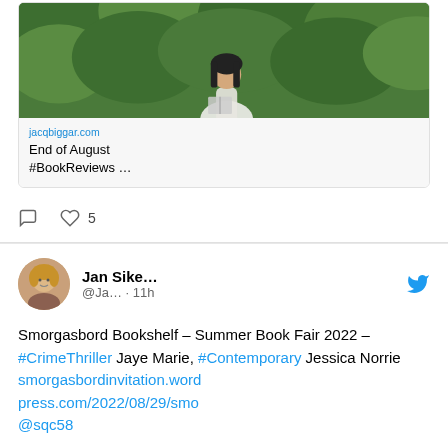[Figure (photo): A girl in a white dress sitting and reading a book against a background of green foliage/bushes]
jacqbiggar.com
End of August #BookReviews …
❤ 5
Jan Sike… @Ja… · 11h
Smorgasbord Bookshelf – Summer Book Fair 2022 – #CrimeThriller Jaye Marie, #Contemporary Jessica Norrie smorgasbordinvitation.wordpress.com/2022/08/29/smo @sqc58